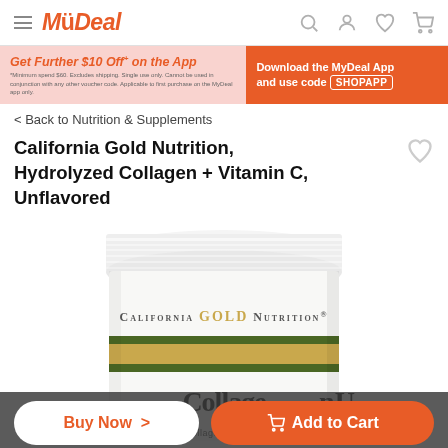MyDeal — navigation header with hamburger menu, search, account, wishlist, cart icons
[Figure (screenshot): MyDeal promotional banner: 'Get Further $10 Off+ on the App' on pink background left side, 'Download the MyDeal App and use code SHOPAPP' on orange background right side]
< Back to Nutrition & Supplements
California Gold Nutrition, Hydrolyzed Collagen + Vitamin C, Unflavored
[Figure (photo): White supplement jar with gold and green label band reading 'California Gold Nutrition' and 'CollagenUP Marine Sourced Collagen Peptides'. The jar lid is visible at top. Partially obscured at bottom by action bar.]
Buy Now >
Add to Cart